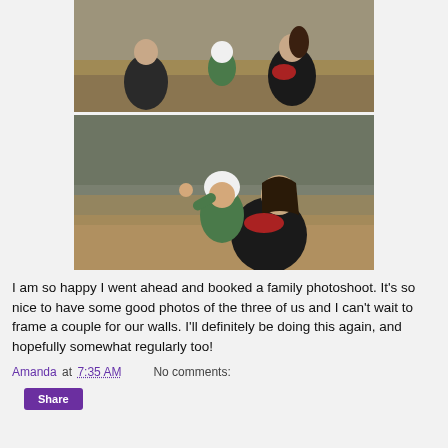[Figure (photo): Family photoshoot outdoor scene 1: a man and woman crouching down with a baby/toddler wearing a white hat and green jacket, outdoors in a field with dry grass]
[Figure (photo): Family photoshoot outdoor scene 2: a woman holding a baby/toddler wearing a white hat and green jacket, with trees in the background, the baby has one arm raised]
I am so happy I went ahead and booked a family photoshoot. It's so nice to have some good photos of the three of us and I can't wait to frame a couple for our walls. I'll definitely be doing this again, and hopefully somewhat regularly too!
Amanda at 7:35 AM   No comments: